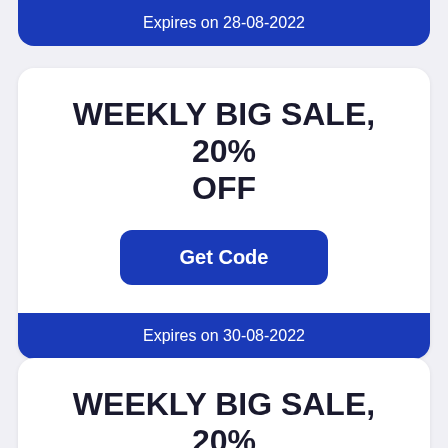Expires on 28-08-2022
WEEKLY BIG SALE, 20% OFF
Get Code
Expires on 30-08-2022
WEEKLY BIG SALE, 20%